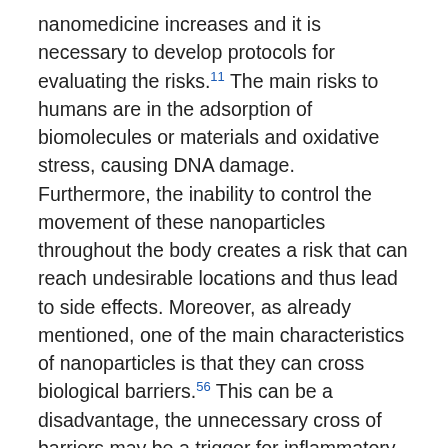nanomedicine increases and it is necessary to develop protocols for evaluating the risks.11 The main risks to humans are in the adsorption of biomolecules or materials and oxidative stress, causing DNA damage. Furthermore, the inability to control the movement of these nanoparticles throughout the body creates a risk that can reach undesirable locations and thus lead to side effects. Moreover, as already mentioned, one of the main characteristics of nanoparticles is that they can cross biological barriers.56 This can be a disadvantage, the unnecessary cross of barriers may be a trigger for inflammatory reactions, At the same time, it is necessary to consider the whole manufacturing process, because for some nanodevices toxic reagents are used during this stage, which limit the applications that they can have in the diagnosis or the administration of drugs. The most common fuel H2O2 produces oxygen bubbles that activate a propulsion mechanism. However, the body tolerates only very low concentrations. In other words, even in